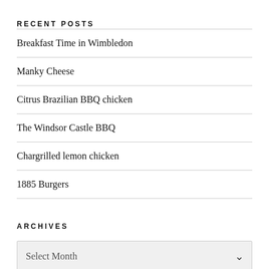RECENT POSTS
Breakfast Time in Wimbledon
Manky Cheese
Citrus Brazilian BBQ chicken
The Windsor Castle BBQ
Chargrilled lemon chicken
1885 Burgers
ARCHIVES
Select Month